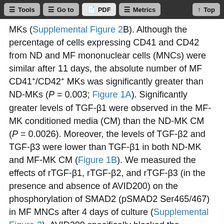Tools | Go to | PDF | Metrics | Top
MKs (Supplemental Figure 2B). Although the percentage of cells expressing CD41 and CD42 from ND and MF mononuclear cells (MNCs) were similar after 11 days, the absolute number of MF CD41+/CD42+ MKs was significantly greater than ND-MKs (P = 0.003; Figure 1A). Significantly greater levels of TGF-β1 were observed in the MF-MK conditioned media (CM) than the ND-MK CM (P = 0.0026). Moreover, the levels of TGF-β2 and TGF-β3 were lower than TGF-β1 in both ND-MK and MF-MK CM (Figure 1B). We measured the effects of rTGF-β1, rTGF-β2, and rTGF-β3 (in the presence and absence of AVID200) on the phosphorylation of SMAD2 (pSMAD2 Ser465/467) in MF MNCs after 4 days of culture (Supplemental Figure 3). AVID200 specifically blocked the activation of SMAD2 by